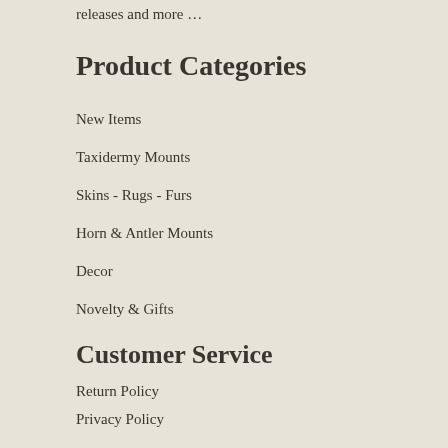releases and more …
Product Categories
New Items
Taxidermy Mounts
Skins - Rugs - Furs
Horn & Antler Mounts
Decor
Novelty & Gifts
Customer Service
Return Policy
Privacy Policy
Shipping
Help - FAQ